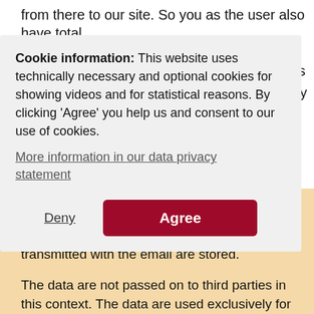from there to our site. So you as the user also have total
e or
ie settings
es already
ically. If
no longer
full
Cookie information: This website uses technically necessary and optional cookies for showing videos and for statistical reasons. By clicking 'Agree' you help us and consent to our use of cookies.
More information in our data privacy statement
Deny
Agree
It is possible for the user to make contact via the email addresses provided on the website. In that event, the user's personal data transmitted with the email are stored.
The data are not passed on to third parties in this context. The data are used exclusively for the processing of the conversation.
- 2. Legal basis for the data processing